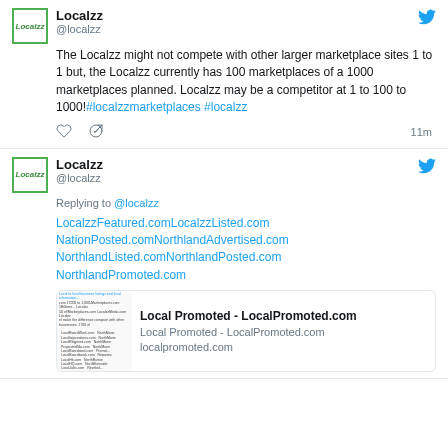Localzz @localzz
The Localzz might not compete with other larger marketplace sites 1 to 1 but, the Localzz currently has 100 marketplaces of a 1000 marketplaces planned. Localzz may be a competitor at 1 to 100 to 1000!#localzzmarketplaces #localzz
11m
Localzz @localzz
Replying to @localzz
LocalzzFeatured.comLocalzzListed.com NationPosted.comNorthlandAdvertised.com NorthlandListed.comNorthlandPosted.com NorthlandPromoted.com
[Figure (screenshot): Preview card for Local Promoted - LocalPromoted.com showing a thumbnail of a list page and site details]